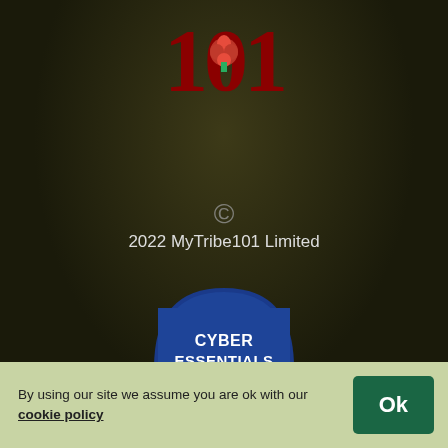[Figure (logo): MyTribe101 logo with red numeral '101' and a red rose, on dark background]
© 2022 MyTribe101 Limited
[Figure (logo): Cyber Essentials Certified badge — dark blue arch shape with 'CYBER ESSENTIALS' text at top in white, large blue/green checkmark in center, 'CERTIFIED' text at bottom in white]
MyTribe101 Ltd., Officepods, 15A Main St, Blackrock, Co. Dublin, A94 T8P8, Ireland.
Company number: 482158
By using our site we assume you are ok with our cookie policy Ok